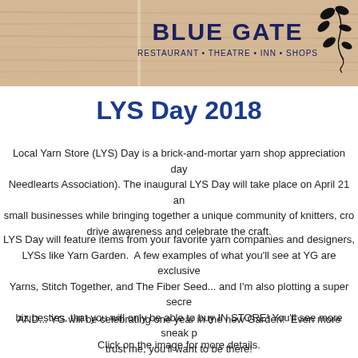[Figure (photo): Blue Gate Restaurant Theatre Inn Shops logo/banner on a wood-grain background with decorative leaf/vine illustration in upper right corner]
LYS Day 2018
Local Yarn Store (LYS) Day is a brick-and-mortar yarn shop appreciation day (sponsored by TNNA – The National Needlearts Association). The inaugural LYS Day will take place on April 21 and is designed to support small businesses while bringing together a unique community of knitters, crocheters, and fiber artists to drive awareness and celebrate the craft.
LYS Day will feature items from your favorite yarn companies and designers, exclusively available at LYSs like Yarn Garden.  A few examples of what you'll see at YG are exclusive colorways from Spincycle Yarns, Stitch Together, and The Fiber Seed... and I'm also plotting a super secret project with some of my biz besties, that you will only be able to buy IN STORE! You'll see more sneak peeks as we get closer, but trust me, you'll want to be there!
AND... YG will be celebrating one year in the new Garden!  Even more
Click on the image for more details.